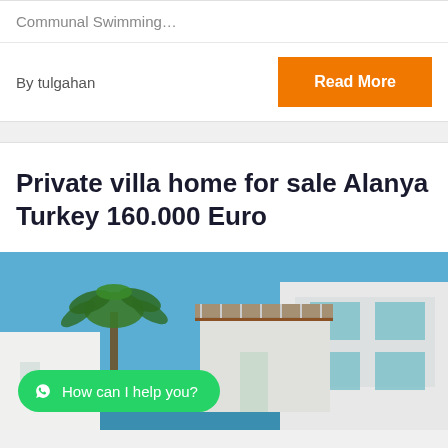Communal Swimming…
By tulgahan
Read More
Private villa home for sale Alanya Turkey 160.000 Euro
[Figure (photo): Modern white villa with glass balcony railings, palm tree, and pool in foreground, blue sky background, with a WhatsApp chat button overlay reading 'How can I help you?']